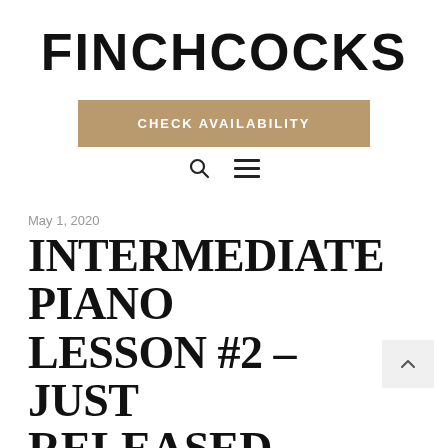FINCHCOCKS
CHECK AVAILABILITY
May 1, 2020
INTERMEDIATE PIANO LESSON #2 – JUST RELEASED